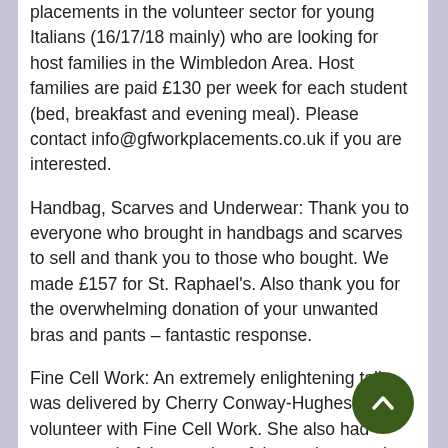placements in the volunteer sector for young Italians (16/17/18 mainly) who are looking for host families in the Wimbledon Area. Host families are paid £130 per week for each student (bed, breakfast and evening meal). Please contact info@gfworkplacements.co.uk if you are interested.
Handbag, Scarves and Underwear: Thank you to everyone who brought in handbags and scarves to sell and thank you to those who bought. We made £157 for St. Raphael's. Also thank you for the overwhelming donation of your unwanted bras and pants – fantastic response.
Fine Cell Work: An extremely enlightening talk was delivered by Cherry Conway-Hughes, a volunteer with Fine Cell Work. She also had some wonderful examples of the work created plus a slide show. Fine Cell Work trains men and women in prison to do high-quality, creative needlework in their cells